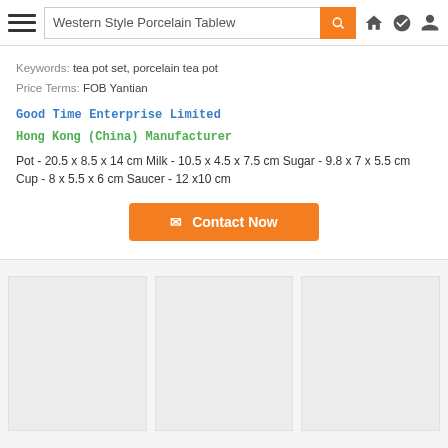Western Style Porcelain Tablew [search bar]
Keywords: tea pot set, porcelain tea pot
Price Terms: FOB Yantian
Good Time Enterprise Limited
Hong Kong (China) Manufacturer
Pot - 20.5 x 8.5 x 14 cm Milk - 10.5 x 4.5 x 7.5 cm Sugar - 9.8 x 7 x 5.5 cm Cup - 8 x 5.5 x 6 cm Saucer - 12 x10 cm
[Figure (screenshot): Contact Now button with envelope icon, orange background]
[Figure (photo): Three empty image placeholder boxes in a grid layout]